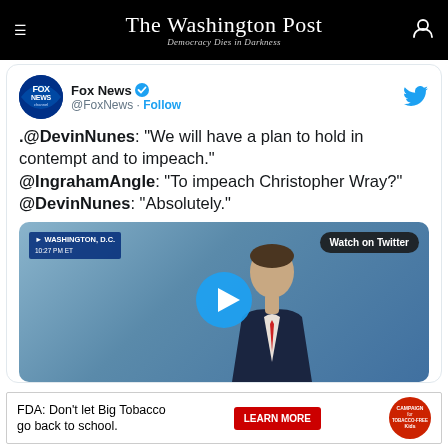The Washington Post — Democracy Dies in Darkness
[Figure (screenshot): Fox News Twitter embed showing tweet from @FoxNews with Fox News logo and Follow button]
.@DevinNunes: "We will have a plan to hold in contempt and to impeach." @IngrahamAngle: "To impeach Christopher Wray?" @DevinNunes: "Absolutely."
[Figure (screenshot): Video thumbnail showing a man in a suit at a news desk with Washington D.C. 10:27 PM ET chyron and Watch on Twitter button, with play button overlay]
FDA: Don't let Big Tobacco go back to school. LEARN MORE — Campaign for Tobacco-Free Kids advertisement